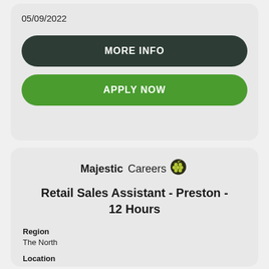05/09/2022
MORE INFO
APPLY NOW
[Figure (logo): MajesticCareers logo with grape icon]
Retail Sales Assistant - Preston - 12 Hours
Region
The North
Location